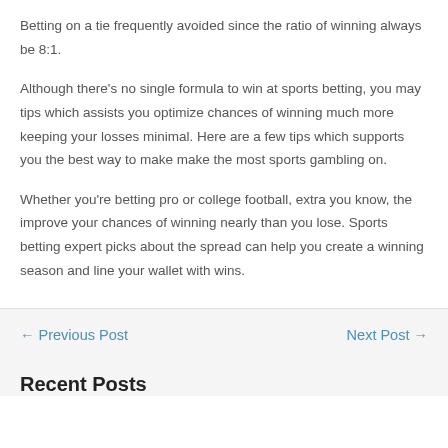Betting on a tie frequently avoided since the ratio of winning always be 8:1.
Although there's no single formula to win at sports betting, you may tips which assists you optimize chances of winning much more keeping your losses minimal. Here are a few tips which supports you the best way to make make the most sports gambling on.
Whether you're betting pro or college football, extra you know, the improve your chances of winning nearly than you lose. Sports betting expert picks about the spread can help you create a winning season and line your wallet with wins.
← Previous Post    Next Post →
Recent Posts